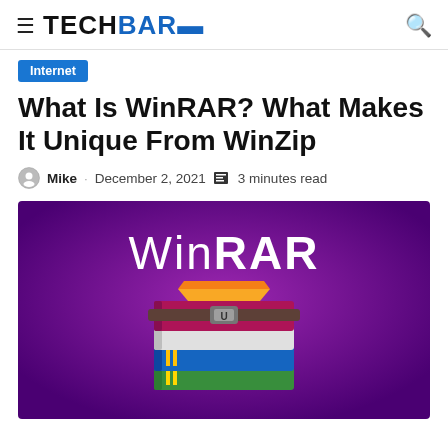≡ TECHBARS [search icon]
Internet
What Is WinRAR? What Makes It Unique From WinZip
Mike · December 2, 2021 · 3 minutes read
[Figure (illustration): WinRAR promotional image: purple gradient background with white WinRAR text logo and the WinRAR icon (stacked books/files with a strap buckle) in the center.]